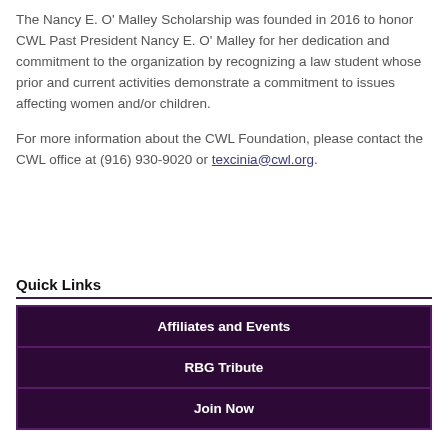The Nancy E. O' Malley Scholarship was founded in 2016 to honor CWL Past President Nancy E. O' Malley for her dedication and commitment to the organization by recognizing a law student whose prior and current activities demonstrate a commitment to issues affecting women and/or children.

For more information about the CWL Foundation, please contact the CWL office at (916) 930-9020 or texcinia@cwl.org.
Quick Links
Affiliates and Events
RBG Tribute
Join Now